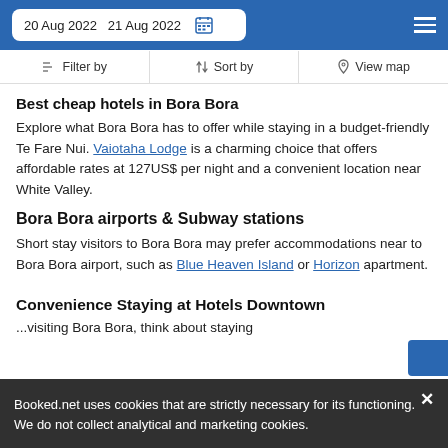20 Aug 2022  21 Aug 2022
Filter by   Sort by   View map
Best cheap hotels in Bora Bora
Explore what Bora Bora has to offer while staying in a budget-friendly Te Fare Nui. Vaiotaha Lodge is a charming choice that offers affordable rates at 127US$ per night and a convenient location near White Valley.
Bora Bora airports & Subway stations
Short stay visitors to Bora Bora may prefer accommodations near to Bora Bora airport, such as Blue Heaven Island or Horizon apartment.
Convenience Staying at Hotels Downtown
...visiting Bora Bora, think about staying
Booked.net uses cookies that are strictly necessary for its functioning. We do not collect analytical and marketing cookies.